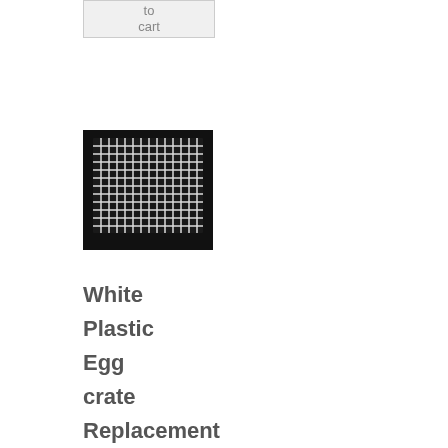[Figure (other): Button partially visible at top showing 'to cart' text on light gray background]
[Figure (photo): Product photo of white plastic egg crate light cover/grid panel against black background]
White Plastic Egg crate Replacement Light Cover